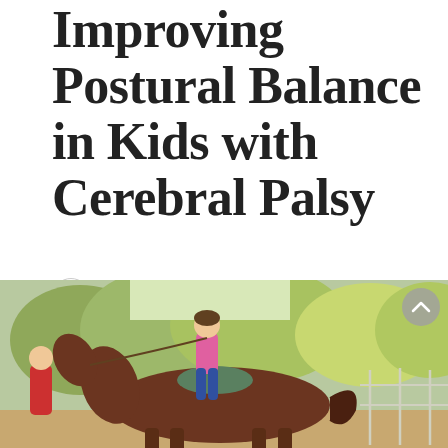Improving Postural Balance in Kids with Cerebral Palsy
SEPTEMBER 28, 2016
BY JOANA FERNANDES, PHD
IN NEWS.
[Figure (photo): A child in a pink shirt riding a brown horse in an outdoor arena, with a person in a red shirt assisting beside the horse.]